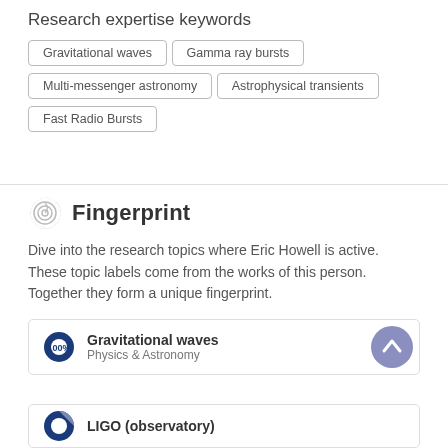Research expertise keywords
Gravitational waves
Gamma ray bursts
Multi-messenger astronomy
Astrophysical transients
Fast Radio Bursts
Fingerprint
Dive into the research topics where Eric Howell is active. These topic labels come from the works of this person. Together they form a unique fingerprint.
Gravitational waves
Physics & Astronomy
LIGO (observatory)